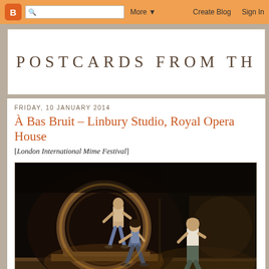B [search] More ▼   Create Blog   Sign In
POSTCARDS FROM TH
FRIDAY, 10 JANUARY 2014
À Bas Bruit – Linbury Studio, Royal Opera House
[London International Mime Festival]
[Figure (photo): Stage performance photo showing performers on a dark stage with a large circular wheel/ring prop on the left side and two performers walking on the right side, lit dramatically against a dark background.]